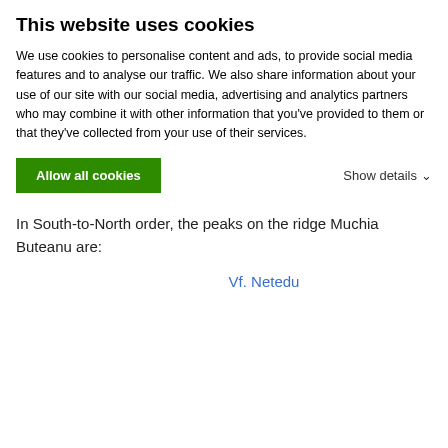This website uses cookies
We use cookies to personalise content and ads, to provide social media features and to analyse our traffic. We also share information about your use of our site with our social media, advertising and analytics partners who may combine it with other information that you’ve provided to them or that they’ve collected from your use of their services.
briefly describe them on this page.
In South-to-North order, the peaks on the ridge Muchia Buteanu are:
Vf. Netedu